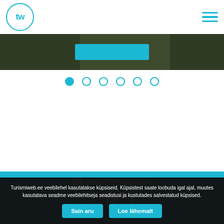tw (Turismiweb logo) — hamburger menu
[Figure (photo): Dark landscape hero image strip with a cyan button overlay]
[Figure (infographic): Slideshow dot navigation row: 6 dots, first filled cyan, rest outlined]
info@turismiweb.ee
Feedback
Advertising
[Figure (logo): Turismiweb 'tw' logo in white circle on cyan background]
Turismiweb.ee veebilehel kasutatakse küpsiseid. Küpsistest saate loobuda igal ajal, muutes kasutatava seadme veebilehitseja seadistusi ja kustutades salvestatud küpsised.
Sain aru
Loe lähemalt